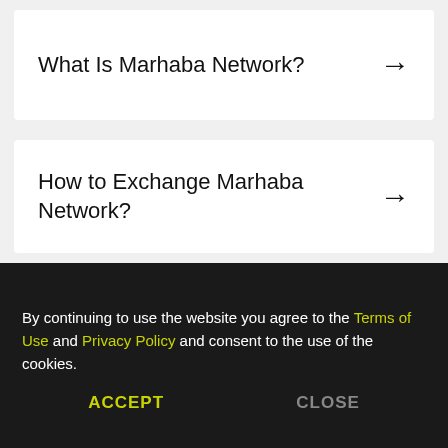What Is Marhaba Network? →
How to Exchange Marhaba Network? →
By continuing to use the website you agree to the Terms of Use and Privacy Policy and consent to the use of the cookies.
ACCEPT   CLOSE